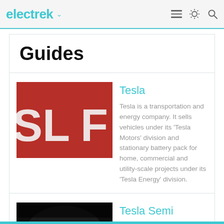electrek
Guides
[Figure (photo): Red Tesla logo sign with letters SL visible on a red background]
Tesla
Tesla is a transportation and energy company. It sells vehicles under its 'Tesla Motors' division and stationary battery pack for home, commercial and utility-scale projects under its 'Tesla Energy' division.
[Figure (photo): Tesla Semi truck in dark tunnel with bright headlights illuminated]
Tesla Semi
Tesla's upcoming all-electric heavy-duty truck.